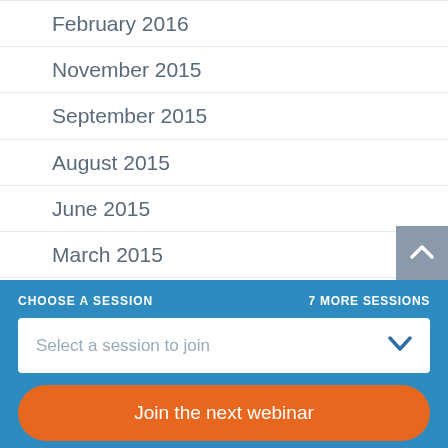February 2016
November 2015
September 2015
August 2015
June 2015
March 2015
October 2014
September 2014
March 2014
CHOOSE A SESSION | 7 MORE SESSIONS
Select a session to join
Join the next webinar